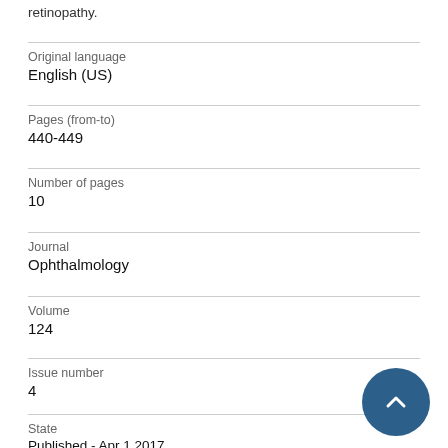retinopathy.
Original language
English (US)
Pages (from-to)
440-449
Number of pages
10
Journal
Ophthalmology
Volume
124
Issue number
4
State
Published - Apr 1 2017